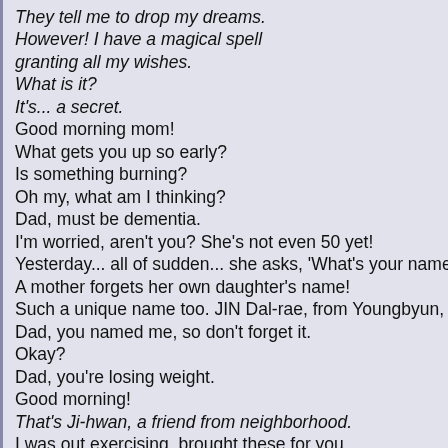They tell me to drop my dreams.
However! I have a magical spell
granting all my wishes.
What is it?
It's... a secret.
Good morning mom!
What gets you up so early?
Is something burning?
Oh my, what am I thinking?
Dad, must be dementia.
I'm worried, aren't you? She's not even 50 yet!
Yesterday... all of sudden... she asks, 'What's your name? '
A mother forgets her own daughter's name!
Such a unique name too. JIN Dal-rae, from Youngbyun, Yaks
Dad, you named me, so don't forget it.
Okay?
Dad, you're losing weight.
Good morning!
That's Ji-hwan, a friend from neighborhood.
I was out exercising, brought these for you.
Stopped his mental age around ten.